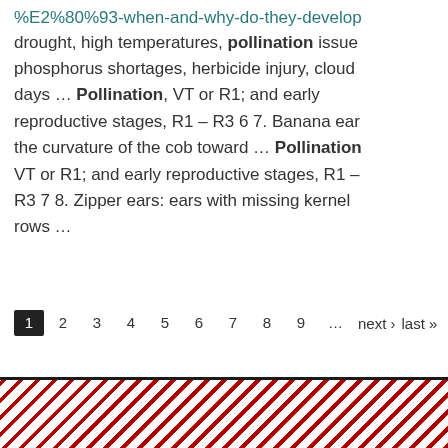%E2%80%93-when-and-why-do-they-develop drought, high temperatures, pollination issues, phosphorus shortages, herbicide injury, cloudy days ... Pollination, VT or R1; and early reproductive stages, R1 – R3 6 7. Banana ears the curvature of the cob toward ... Pollination VT or R1; and early reproductive stages, R1 – R3 7 8. Zipper ears: ears with missing kernel rows ...
1 2 3 4 5 6 7 8 … next › last »